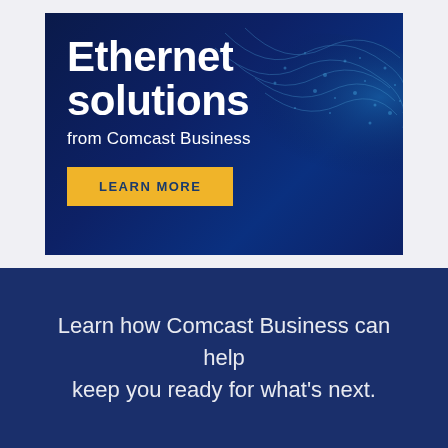[Figure (infographic): Comcast Business advertisement banner with dark navy blue background and wave/network pattern. Shows 'Ethernet solutions from Comcast Business' text and a yellow 'LEARN MORE' button.]
Learn how Comcast Business can help keep you ready for what's next.